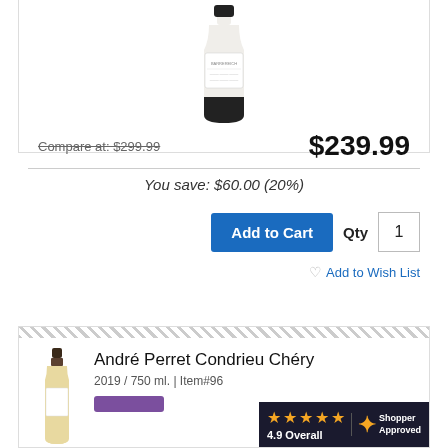[Figure (photo): Wine bottle with white label and dark bottom, product image]
Compare at: $299.99
$239.99
You save: $60.00 (20%)
Add to Cart
Qty 1
Add to Wish List
[Figure (photo): Wine bottle with dark cap, product image for André Perret Condrieu Chéry]
André Perret Condrieu Chéry
2019 / 750 ml. | Item#96...
[Figure (other): Shopper Approved badge showing 4.9 Overall rating with star icons]